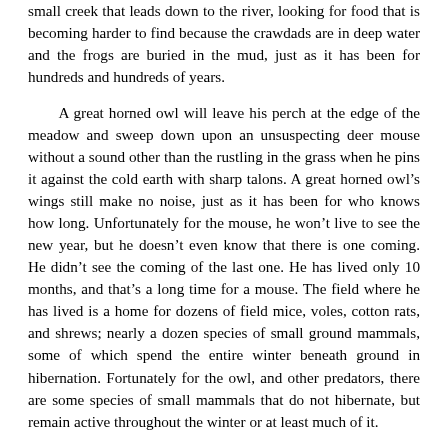small creek that leads down to the river, looking for food that is becoming harder to find because the crawdads are in deep water and the frogs are buried in the mud, just as it has been for hundreds and hundreds of years.
A great horned owl will leave his perch at the edge of the meadow and sweep down upon an unsuspecting deer mouse without a sound other than the rustling in the grass when he pins it against the cold earth with sharp talons. A great horned owl's wings still make no noise, just as it has been for who knows how long. Unfortunately for the mouse, he won't live to see the new year, but he doesn't even know that there is one coming. He didn't see the coming of the last one. He has lived only 10 months, and that's a long time for a mouse. The field where he has lived is a home for dozens of field mice, voles, cotton rats, and shrews; nearly a dozen species of small ground mammals, some of which spend the entire winter beneath ground in hibernation. Fortunately for the owl, and other predators, there are some species of small mammals that do not hibernate, but remain active throughout the winter or at least much of it.
Inside the big oak where the owl sat, a pair of fox squirrels sleep